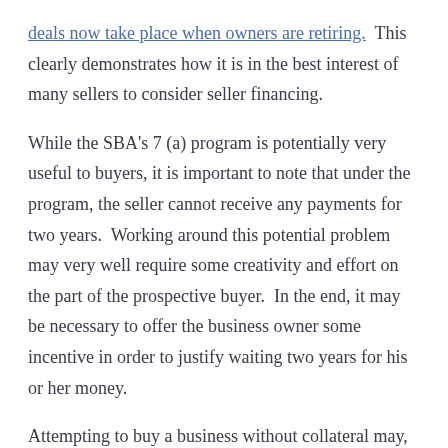deals now take place when owners are retiring. This clearly demonstrates how it is in the best interest of many sellers to consider seller financing.
While the SBA's 7 (a) program is potentially very useful to buyers, it is important to note that under the program, the seller cannot receive any payments for two years. Working around this potential problem may very well require some creativity and effort on the part of the prospective buyer. In the end, it may be necessary to offer the business owner some incentive in order to justify waiting two years for his or her money.
Attempting to buy a business without collateral may, at first, sound like too large of an obstacle to overcome.